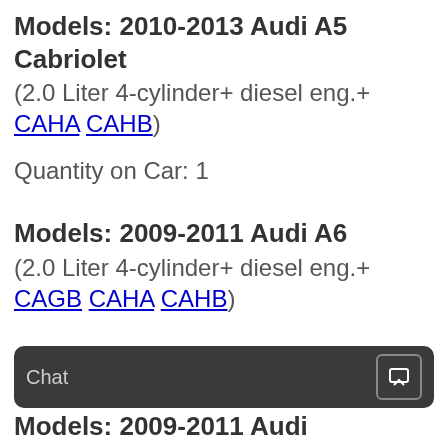Models: 2010-2013 Audi A5 Cabriolet (2.0 Liter 4-cylinder+ diesel eng.+ CAHA CAHB)
Quantity on Car: 1
Models: 2009-2011 Audi A6 (2.0 Liter 4-cylinder+ diesel eng.+ CAGB CAHA CAHB)
Chat
Models: 2009-2011 Audi